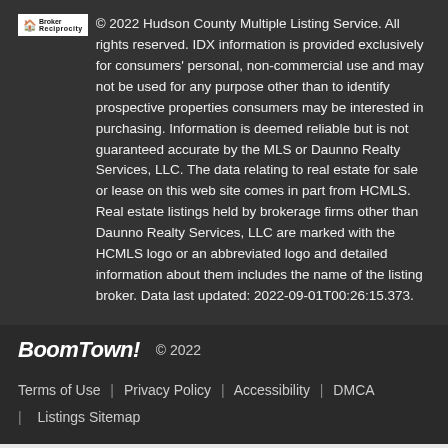© 2022 Hudson County Multiple Listing Service. All rights reserved. IDX information is provided exclusively for consumers' personal, non-commercial use and may not be used for any purpose other than to identify prospective properties consumers may be interested in purchasing. Information is deemed reliable but is not guaranteed accurate by the MLS or Daunno Realty Services, LLC. The data relating to real estate for sale or lease on this web site comes in part from HCMLS. Real estate listings held by brokerage firms other than Daunno Realty Services, LLC are marked with the HCMLS logo or an abbreviated logo and detailed information about them includes the name of the listing broker. Data last updated: 2022-09-01T00:26:15.373.
BoomTown! © 2022
Terms of Use | Privacy Policy | Accessibility | DMCA | Listings Sitemap
Back to Results